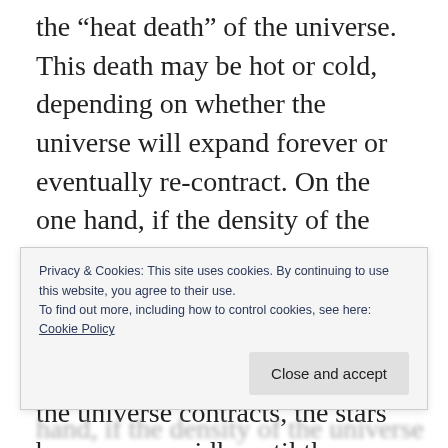the “heat death” of the universe. This death may be hot or cold, depending on whether the universe will expand forever or eventually re-contract. On the one hand, if the density of the universe is great enough to overcome the force of the expansion, then the universe will re-contract into a hot fireball. As the universe contracts, the stars burn more rapidly until they finally explode or evaporate. As the universe grows denser, the black holes begin to gobble up everything around them and begin
Privacy & Cookies: This site uses cookies. By continuing to use this website, you agree to their use.
To find out more, including how to control cookies, see here:
Cookie Policy
Close and accept
hand, if the density of the universe is